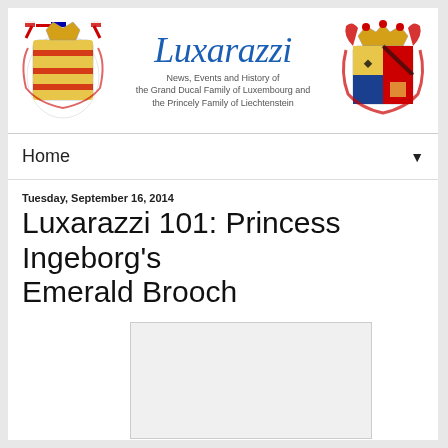[Figure (logo): Luxarazzi website header with Luxembourg coat of arms on left, site title 'Luxarazzi' in blue cursive font with subtitle 'News, Events and History of the Grand Ducal Family of Luxembourg and the Princely Family of Liechtenstein', and Liechtenstein coat of arms on right]
Home ▼
Tuesday, September 16, 2014
Luxarazzi 101: Princess Ingeborg's Emerald Brooch
[Figure (photo): Empty/placeholder image area]
Occasionally, when we get nothing else to do, Team